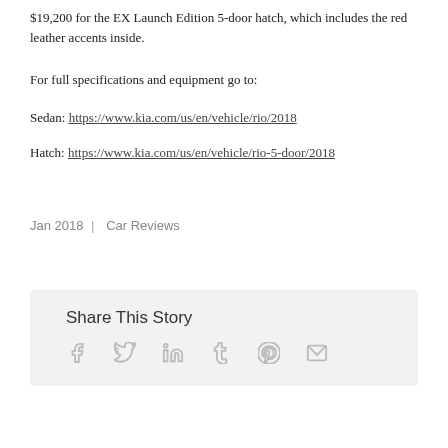$19,200 for the EX Launch Edition 5-door hatch, which includes the red leather accents inside.
For full specifications and equipment go to:
Sedan: https://www.kia.com/us/en/vehicle/rio/2018
Hatch: https://www.kia.com/us/en/vehicle/rio-5-door/2018
Jan 2018 | Car Reviews
Share This Story